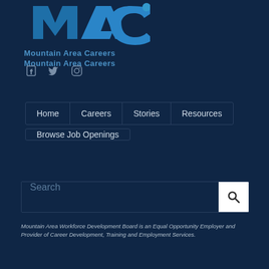[Figure (logo): Mountain Area Careers (MAC) logo with blue stylized M-A-C letters and text below reading Mountain Area Careers]
[Figure (infographic): Three social media icons: Facebook, Twitter, Instagram in grey-blue color]
Home | Careers | Stories | Resources | Browse Job Openings
Search
Mountain Area Workforce Development Board is an Equal Opportunity Employer and Provider of Career Development, Training and Employment Services.